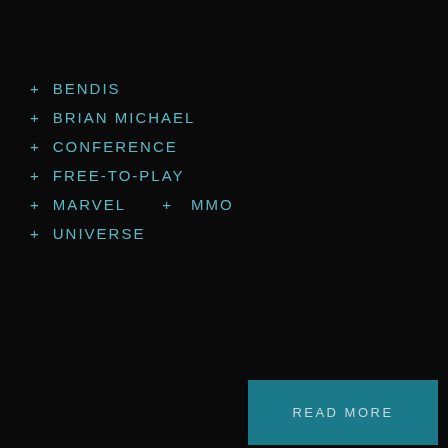+ BENDIS
+ BRIAN MICHAEL
+ CONFERENCE
+ FREE-TO-PLAY
+ MARVEL  + MMO
+ UNIVERSE
[Figure (other): Loading spinner arc in cyan/teal color]
READ MORE
1  2  Next →